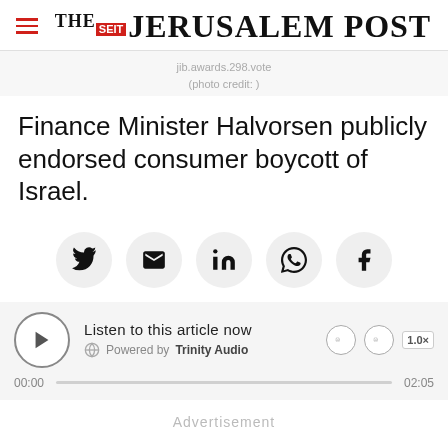THE JERUSALEM POST
jib.awards.298.vote
(photo credit: )
Finance Minister Halvorsen publicly endorsed consumer boycott of Israel.
[Figure (infographic): Social share buttons row: Twitter, Email, LinkedIn, WhatsApp, Facebook]
[Figure (infographic): Audio player: Listen to this article now, Powered by Trinity Audio, 00:00 / 02:05, play button, rewind/forward controls, 1.0x speed]
Advertisement